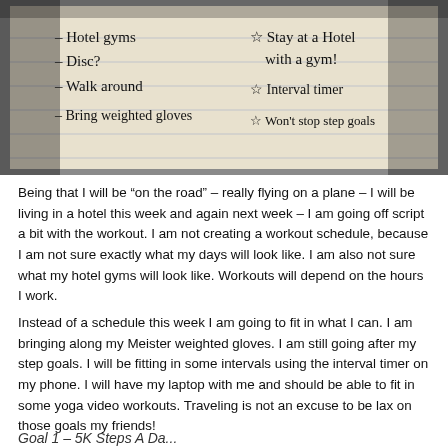[Figure (photo): A handwritten note on lined paper with dark scribbled border. Left column lists: - Hotel gyms, - Disc?, - Walk around, - Bring weighted gloves. Right column lists with stars: ☆ Stay at a Hotel with a gym!, ☆ Interval timer, ☆ Won't stop step goals]
Being that I will be “on the road” – really flying on a plane – I will be living in a hotel this week and again next week – I am going off script a bit with the workout. I am not creating a workout schedule, because I am not sure exactly what my days will look like. I am also not sure what my hotel gyms will look like. Workouts will depend on the hours I work.
Instead of a schedule this week I am going to fit in what I can. I am bringing along my Meister weighted gloves. I am still going after my step goals. I will be fitting in some intervals using the interval timer on my phone. I will have my laptop with me and should be able to fit in some yoga video workouts. Traveling is not an excuse to be lax on those goals my friends!
Goal 1 – 5K Steps A Da...